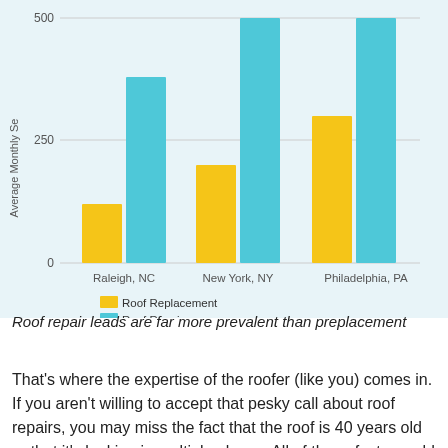[Figure (grouped-bar-chart): Average Monthly Se...]
Roof repair leads are far more prevalent than preplacement
That's where the expertise of the roofer (like you) comes in. If you aren't willing to accept that pesky call about roof repairs, you may miss the fact that the roof is 40 years old or that it's leaking in multiple places. All of these facts would come out during the phone investigation, or when you're on-site taking a